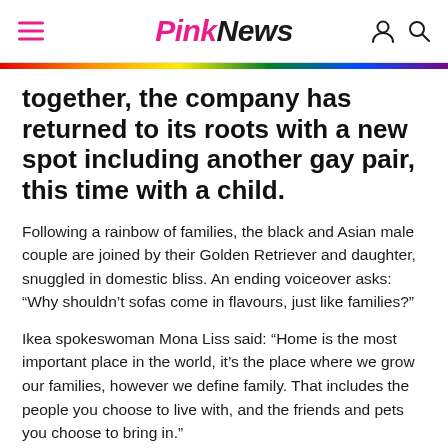PinkNews
together, the company has returned to its roots with a new spot including another gay pair, this time with a child.
Following a rainbow of families, the black and Asian male couple are joined by their Golden Retriever and daughter, snuggled in domestic bliss. An ending voiceover asks: “Why shouldn’t sofas come in flavours, just like families?”
Ikea spokeswoman Mona Liss said: “Home is the most important place in the world, it’s the place where we grow our families, however we define family. That includes the people you choose to live with, and the friends and pets you choose to bring in.”